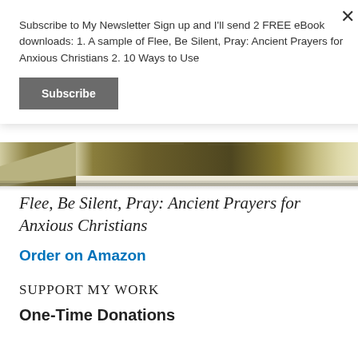Subscribe to My Newsletter Sign up and I'll send 2 FREE eBook downloads: 1. A sample of Flee, Be Silent, Pray: Ancient Prayers for Anxious Christians 2. 10 Ways to Use
Subscribe
[Figure (photo): Bottom edge/spine of a book with olive/khaki colored cover against white background]
Flee, Be Silent, Pray: Ancient Prayers for Anxious Christians
Order on Amazon
SUPPORT MY WORK
One-Time Donations